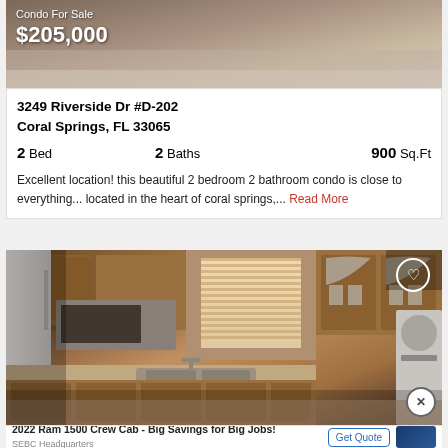[Figure (photo): Condo interior room photo showing carpet floor, top portion of image]
Condo For Sale
$205,000
3249 Riverside Dr #D-202
Coral Springs, FL 33065
2 Bed    2 Baths    900 Sq.Ft
Excellent location! this beautiful 2 bedroom 2 bathroom condo is close to everything... located in the heart of coral springs,... Read More
[Figure (photo): Kitchen interior photo showing wooden cabinets, window with blinds, sink, refrigerator, and appliances]
2022 Ram 1500 Crew Cab - Big Savings for Big Jobs!
SEBC Headquarters
Get Quote